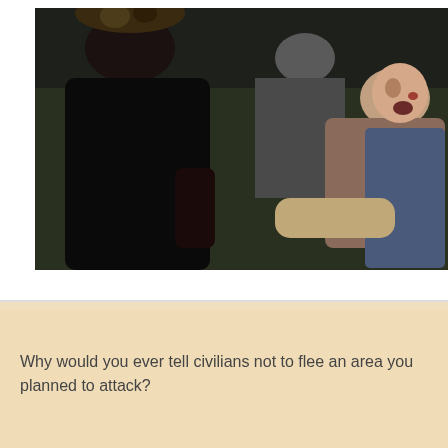[Figure (photo): A photograph showing people in a distressed situation. A person in a black shirt is visible from behind, and another person appears to be holding a child who is in distress, with additional figures visible in the background.]
Why would you ever tell civilians not to flee an area you planned to attack?